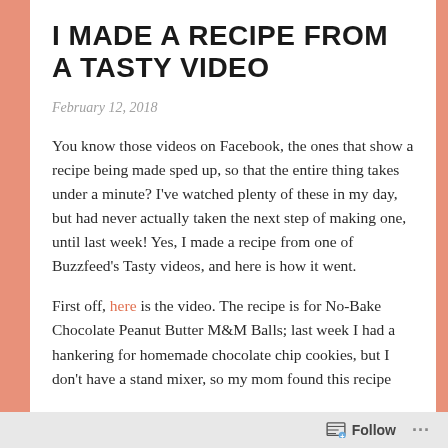I MADE A RECIPE FROM A TASTY VIDEO
February 12, 2018
You know those videos on Facebook, the ones that show a recipe being made sped up, so that the entire thing takes under a minute? I've watched plenty of these in my day, but had never actually taken the next step of making one, until last week! Yes, I made a recipe from one of Buzzfeed's Tasty videos, and here is how it went.
First off, here is the video. The recipe is for No-Bake Chocolate Peanut Butter M&M Balls; last week I had a hankering for homemade chocolate chip cookies, but I don't have a stand mixer, so my mom found this recipe
Follow ...